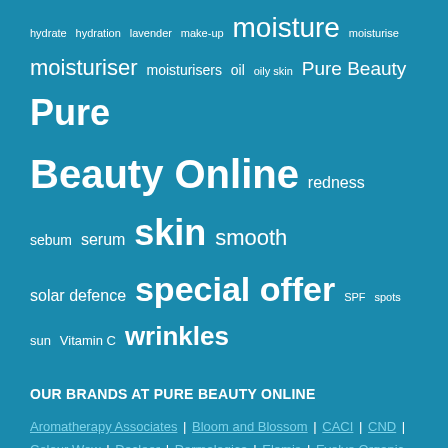[Figure (infographic): Word cloud on teal/blue background with skincare and beauty-related terms in varying font sizes. Terms include: hydrate, hydration, lavender, make-up, moisture, moisturise, moisturiser, moisturisers, oil, oily skin, Pure Beauty, Pure Beauty Online, redness, sebum, serum, skin, smooth, solar defence, special offer, SPF, spots, sun, Vitamin C, wrinkles]
OUR BRANDS AT PURE BEAUTY ONLINE
Aromatherapy Associates | Bloom and Blossom | CACI | CND | Colour Wow | Decleor | Dermalogica | Elemis | Evolve Organic Beauty | Face Lite | GHD | Hayo'u | HD Brows | JoJo Glow | Medik8 | Murad | Nouveau Lashes | Olaplex | Orly | REN Clean Skincare | Revitalash | Skin Abode | SkinCeuticals | South Seas | St. Tropez | The Sea Shed | This Works | UpCircle